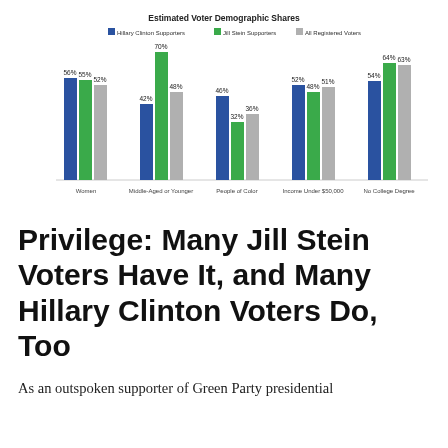[Figure (grouped-bar-chart): Estimated Voter Demographic Shares]
Privilege: Many Jill Stein Voters Have It, and Many Hillary Clinton Voters Do, Too
As an outspoken supporter of Green Party presidential